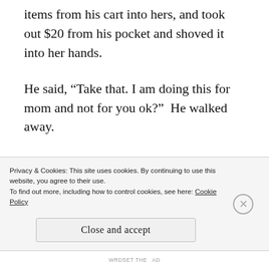items from his cart into hers, and took out $20 from his pocket and shoved it into her hands.
He said, “Take that. I am doing this for mom and not for you ok?”  He walked away.
The sister smiled in victory, she joined the two pieces and said, “Oh! It was cinnamon.”
Privacy & Cookies: This site uses cookies. By continuing to use this website, you agree to their use.
To find out more, including how to control cookies, see here: Cookie Policy
Close and accept